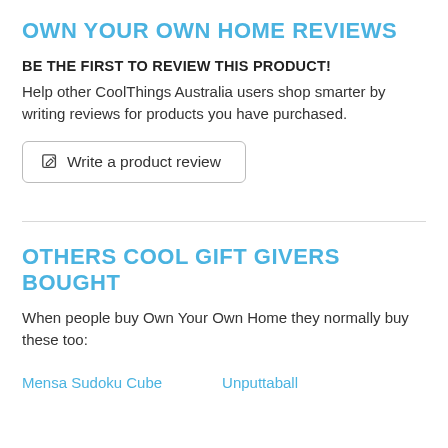OWN YOUR OWN HOME REVIEWS
BE THE FIRST TO REVIEW THIS PRODUCT!
Help other CoolThings Australia users shop smarter by writing reviews for products you have purchased.
Write a product review
OTHERS COOL GIFT GIVERS BOUGHT
When people buy Own Your Own Home they normally buy these too:
Mensa Sudoku Cube
Unputtaball